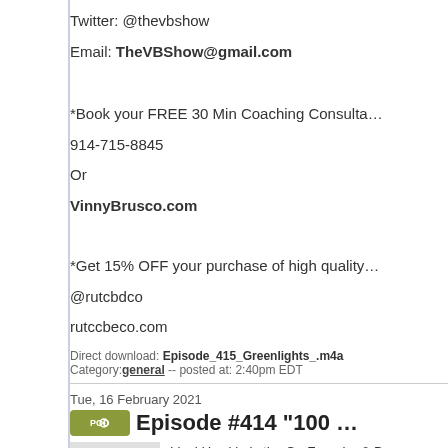Twitter: @thevbshow
Email: TheVBShow@gmail.com
*Book your FREE 30 Min Coaching Consulta...
914-715-8845
Or
VinnyBrusco.com
*Get 15% OFF your purchase of high quality...
@rutcbdco
rutccbeco.com
Direct download: Episode_415_Greenlights_.m4a  Category: general -- posted at: 2:40pm EDT
Tue, 16 February 2021
Episode #414 "100 ...
Linzi Hawkin is the Co-Founder & B... innovative ways to create impact.
Linzi'z love for all things ocean & ou... from screens, boardrooms & aircon...
With a focus on the triple bottom lin...